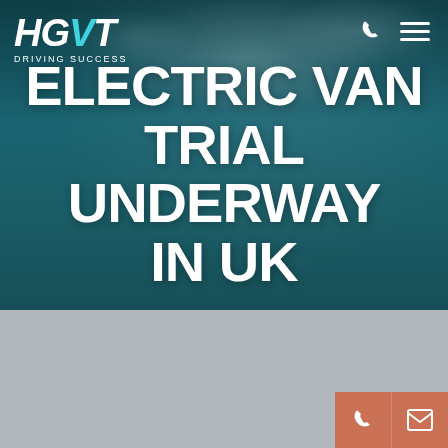[Figure (screenshot): HGVT website hero section with dark teal background, truck/sky imagery, HGVT logo top left and navigation icons top right]
ELECTRIC VAN TRIAL UNDERWAY IN UK
Our website uses cookies to give you a better browsing experience, and by using our site you accept our cookies policy
OK
Read